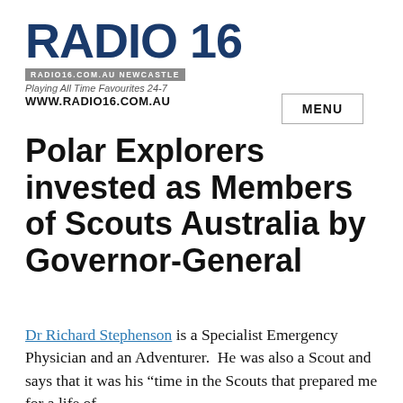RADIO 16 | RADIO16.COM.AU NEWCASTLE | Playing All Time Favourites 24-7 | WWW.RADIO16.COM.AU
Polar Explorers invested as Members of Scouts Australia by Governor-General
Dr Richard Stephenson is a Specialist Emergency Physician and an Adventurer.  He was also a Scout and says that it was his “time in the Scouts that prepared me for a life of